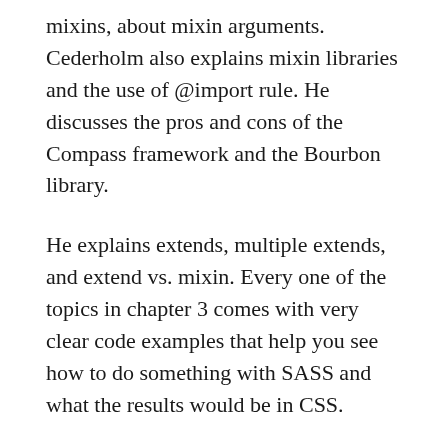mixins, about mixin arguments. Cederholm also explains mixin libraries and the use of @import rule. He discusses the pros and cons of the Compass framework and the Bourbon library.
He explains extends, multiple extends, and extend vs. mixin. Every one of the topics in chapter 3 comes with very clear code examples that help you see how to do something with SASS and what the results would be in CSS.
Chapter 4 is Media Queries. You find out about nesting media queries, using variables for breakpoints, using the content directive, and putting mixins inside mixins.